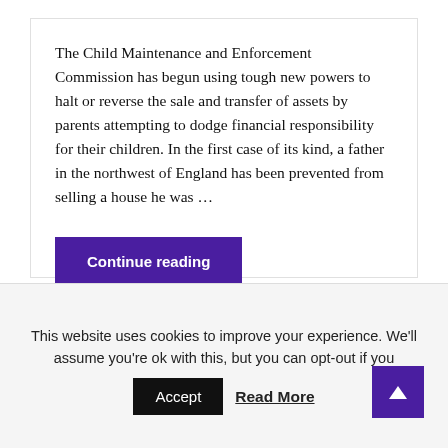The Child Maintenance and Enforcement Commission has begun using tough new powers to halt or reverse the sale and transfer of assets by parents attempting to dodge financial responsibility for their children. In the first case of its kind, a father in the northwest of England has been prevented from selling a house he was …
Continue reading
child maintenance
This website uses cookies to improve your experience. We'll assume you're ok with this, but you can opt-out if you
Accept
Read More